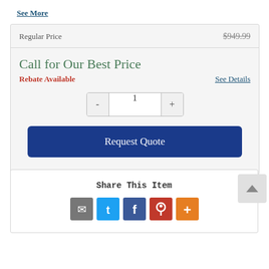See More
Regular Price    $949.99
Call for Our Best Price
Rebate Available
See Details
1
Request Quote
Share This Item
[Figure (infographic): Social share icons: email (grey), Twitter (blue), Facebook (dark blue), Pinterest (red), More (orange)]